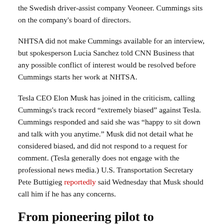the Swedish driver-assist company Veoneer. Cummings sits on the company's board of directors.
NHTSA did not make Cummings available for an interview, but spokesperson Lucia Sanchez told CNN Business that any possible conflict of interest would be resolved before Cummings starts her work at NHTSA.
Tesla CEO Elon Musk has joined in the criticism, calling Cummings's track record “extremely biased” against Tesla. Cummings responded and said she was “happy to sit down and talk with you anytime.” Musk did not detail what he considered biased, and did not respond to a request for comment. (Tesla generally does not engage with the professional news media.) U.S. Transportation Secretary Pete Buttigieg reportedly said Wednesday that Musk should call him if he has any concerns.
From pioneering pilot to professor
In the 1990s, Cummings became one of the first women to be a pilot in the Navy. She’s said in interviews that she later entered academia because she saw the coming tide